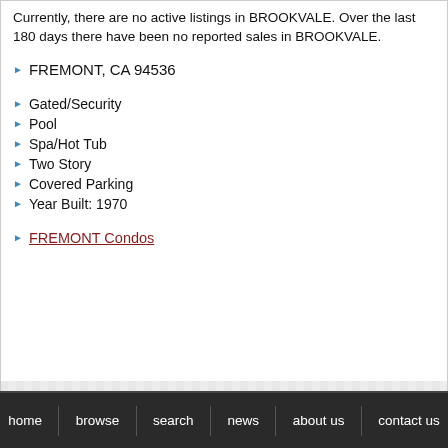Currently, there are no active listings in BROOKVALE. Over the last 180 days there have been no reported sales in BROOKVALE.
FREMONT, CA 94536
Gated/Security
Pool
Spa/Hot Tub
Two Story
Covered Parking
Year Built: 1970
FREMONT Condos
home  browse  search  news  about us  contact us